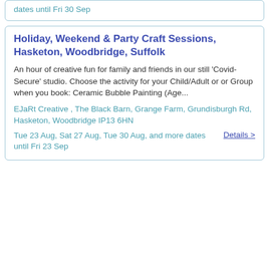dates until Fri 30 Sep
Holiday, Weekend & Party Craft Sessions, Hasketon, Woodbridge, Suffolk
An hour of creative fun for family and friends in our still 'Covid-Secure' studio. Choose the activity for your Child/Adult or or Group when you book: Ceramic Bubble Painting (Age...
EJaRt Creative , The Black Barn, Grange Farm, Grundisburgh Rd, Hasketon, Woodbridge IP13 6HN
Tue 23 Aug, Sat 27 Aug, Tue 30 Aug, and more dates until Fri 23 Sep
Details >